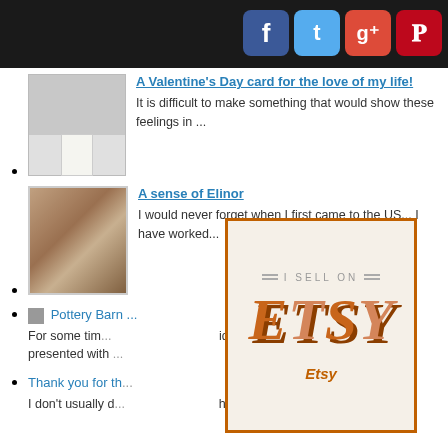[Figure (screenshot): Social media icons: Facebook, Twitter, Google+, Pinterest on black bar]
A Valentine's Day card for the love of my life! — It is difficult to make something that would show these feelings in ...
A sense of Elinor — I would never forget when I first came to the US... I have worked...
Pottery Barn — For some tim... idea to make... presented with ...
Thank you for th... — I don't usually d... hem of co...
[Figure (infographic): Etsy seller badge widget: 'I SELL ON ETSY' in orange and brown 3D letters on cream background with orange border, labeled 'Etsy' below]